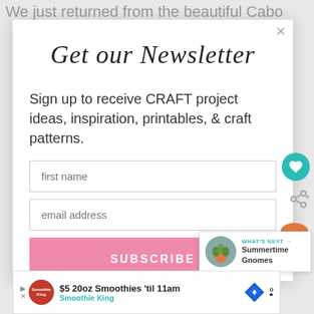We just returned from the beautiful Cabo
Get our Newsletter
Sign up to receive CRAFT project ideas, inspiration, printables, & craft patterns.
first name
email address
SUBSCRIBE
WHAT'S NEXT → Summertime Gnomes
$5 20oz Smoothies 'til 11am Smoothie King